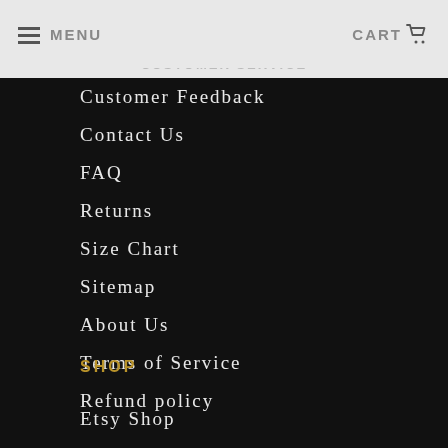MENU  CART
CUSTOMER SERVICE
Customer Feedback
Contact Us
FAQ
Returns
Size Chart
Sitemap
About Us
Terms of Service
Refund policy
SHOP
Etsy Shop